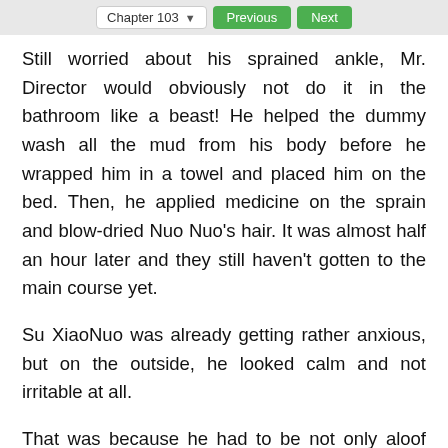Chapter 103  Previous  Next
Still worried about his sprained ankle, Mr. Director would obviously not do it in the bathroom like a beast! He helped the dummy wash all the mud from his body before he wrapped him in a towel and placed him on the bed. Then, he applied medicine on the sprain and blow-dried Nuo Nuo’s hair. It was almost half an hour later and they still haven’t gotten to the main course yet.
Su XiaoNuo was already getting rather anxious, but on the outside, he looked calm and not irritable at all.
That was because he had to be not only aloof but also classy!